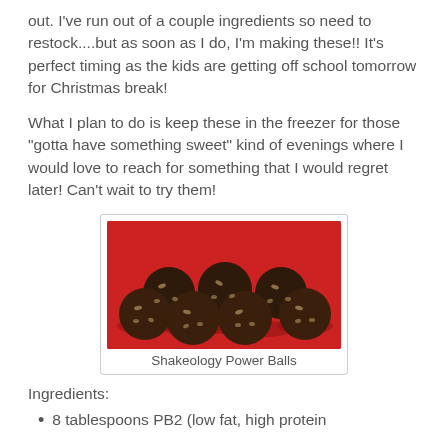out.  I've run out of a couple ingredients so need to restock....but as soon as I do, I'm making these!!  It's perfect timing as the kids are getting off school tomorrow for Christmas break!
What I plan to do is keep these in the freezer for those "gotta have something sweet" kind of evenings where I would love to reach for something that I would regret later!  Can't wait to try them!
[Figure (photo): Photo of chocolate Shakeology Power Balls arranged on a red tray, showing 8 dark round balls with oat/grain texture.]
Shakeology Power Balls
Ingredients:
8 tablespoons PB2 (low fat, high protein